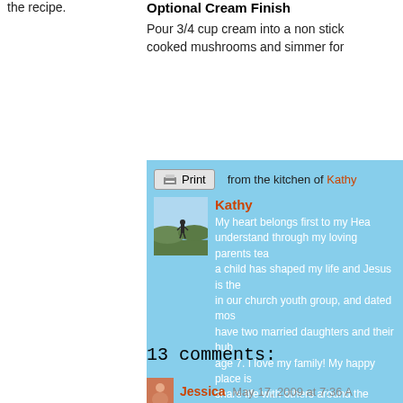the recipe.
Optional Cream Finish
Pour 3/4 cup cream into a non stick cooked mushrooms and simmer for
from the kitchen of Kathy
Kathy
My heart belongs first to my Hea understand through my loving parents tea a child has shaped my life and Jesus is the in our church youth group, and dated mos have two married daughters and their hub age 7. I love my family! My happy place is share life with others around the table. I'd relationship, engaging in good conversatio
13 comments:
Jessica May 17, 2009 at 7:36 A